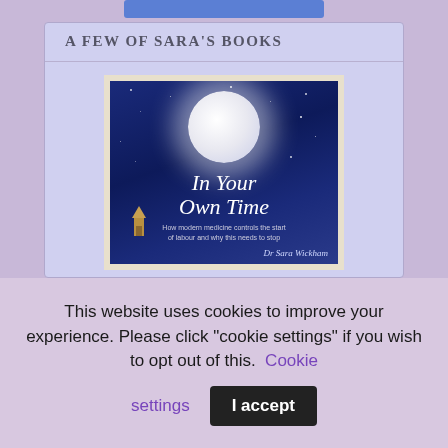A FEW OF SARA'S BOOKS
[Figure (photo): Book cover of 'In Your Own Time' by Dr Sara Wickham. Dark navy blue background with a large glowing full moon, stars, a church spire at the bottom left, cursive white title text 'In Your Own Time', subtitle 'How modern medicine controls the start of labour and why this needs to stop', and the author name 'Dr Sara Wickham' at the bottom right.]
This website uses cookies to improve your experience. Please click "cookie settings" if you wish to opt out of this. Cookie settings  I accept